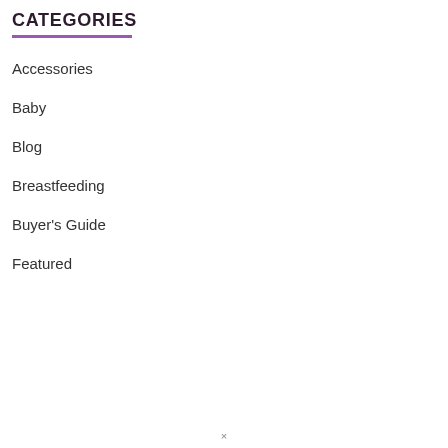CATEGORIES
Accessories
Baby
Blog
Breastfeeding
Buyer's Guide
Featured
×